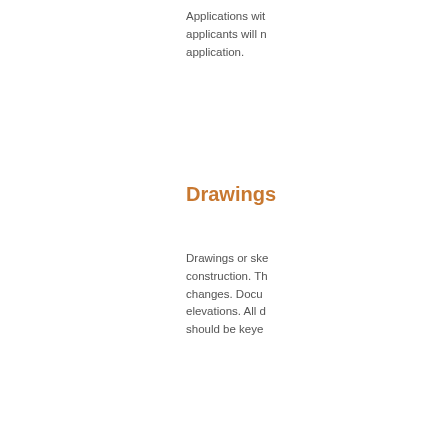Applications with… applicants will n… application.
Drawings
Drawings or ske… construction. Th… changes. Docu… elevations. All d… should be keye…
Where replacem… windows are de… windows must b… vertical and hor… Additional infor… Replacement.
Do not include m… generally do no… size of these fe… location, size, a… assist with the…